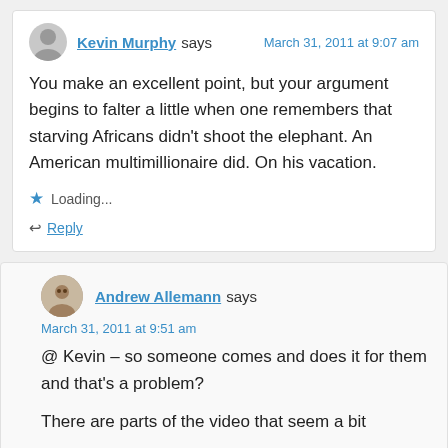Kevin Murphy says — March 31, 2011 at 9:07 am
You make an excellent point, but your argument begins to falter a little when one remembers that starving Africans didn't shoot the elephant. An American multimillionaire did. On his vacation.
Loading...
Reply
Andrew Allemann says — March 31, 2011 at 9:51 am
@ Kevin – so someone comes and does it for them and that's a problem?
There are parts of the video that seem a bit